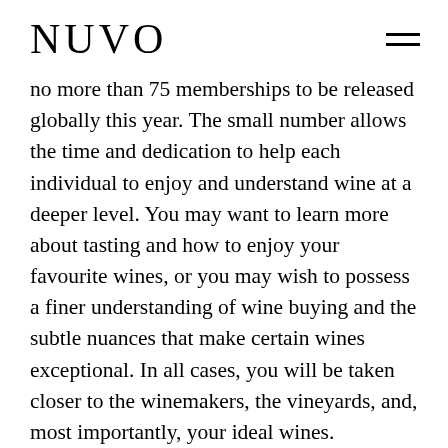NUVO
no more than 75 memberships to be released globally this year. The small number allows the time and dedication to help each individual to enjoy and understand wine at a deeper level. You may want to learn more about tasting and how to enjoy your favourite wines, or you may wish to possess a finer understanding of wine buying and the subtle nuances that make certain wines exceptional. In all cases, you will be taken closer to the winemakers, the vineyards, and, most importantly, your ideal wines.
SHARE